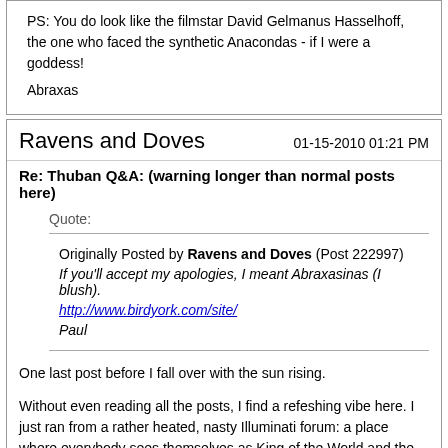PS: You do look like the filmstar David Gelmanus Hasselhoff, the one who faced the synthetic Anacondas - if I were a goddess!
Abraxas
Ravens and Doves
01-15-2010 01:21 PM
Re: Thuban Q&A: (warning longer than normal posts here)
Quote: Originally Posted by Ravens and Doves (Post 222997) If you'll accept my apologies, I meant Abraxasinas (I blush). http://www.birdyork.com/site/ Paul
One last post before I fall over with the sun rising.
Without even reading all the posts, I find a refeshing vibe here. I just ran from a rather heated, nasty Illuminati forum: a place where everybody sees themselves as King of the World and the rest of us are just road kill.
I pray Abraxas is willing...